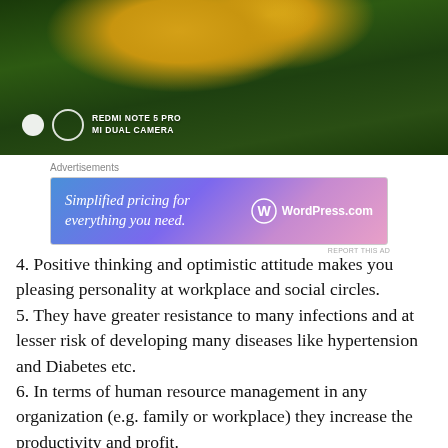[Figure (photo): Photo of yellow flowers with green leaves taken with Redmi Note 5 Pro Mi Dual Camera. Camera badge visible in lower left with two circles and text.]
Advertisements
[Figure (other): WordPress.com advertisement banner: 'Simplified pricing for everything you need.' with WordPress.com logo. Gradient blue-pink background.]
4. Positive thinking and optimistic attitude makes you pleasing personality at workplace and social circles.
5. They have greater resistance to many infections and at lesser risk of developing many diseases like hypertension and Diabetes etc.
6. In terms of human resource management in any organization (e.g. family or workplace) they increase the productivity and profit.